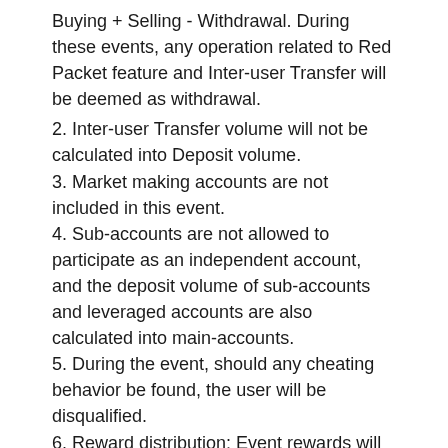Buying + Selling - Withdrawal. During these events, any operation related to Red Packet feature and Inter-user Transfer will be deemed as withdrawal.
2. Inter-user Transfer volume will not be calculated into Deposit volume.
3. Market making accounts are not included in this event.
4. Sub-accounts are not allowed to participate as an independent account, and the deposit volume of sub-accounts and leveraged accounts are also calculated into main-accounts.
5. During the event, should any cheating behavior be found, the user will be disqualified.
6. Reward distribution: Event rewards will be issued within 3 day after the event.
7. CoinEx reserves the right of final interpretation of these events.
CoinEx Team
April 26, 2021